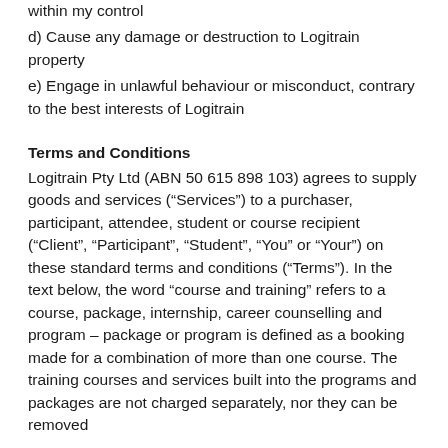within my control
d) Cause any damage or destruction to Logitrain property
e) Engage in unlawful behaviour or misconduct, contrary to the best interests of Logitrain
Terms and Conditions
Logitrain Pty Ltd (ABN 50 615 898 103) agrees to supply goods and services (“Services”) to a purchaser, participant, attendee, student or course recipient (“Client”, “Participant”, “Student”, “You” or “Your”) on these standard terms and conditions (“Terms”). In the text below, the word “course and training” refers to a course, package, internship, career counselling and program – package or program is defined as a booking made for a combination of more than one course. The training courses and services built into the programs and packages are not charged separately, nor they can be removed